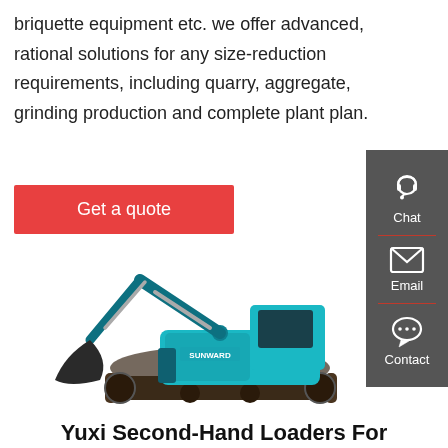briquette equipment etc. we offer advanced, rational solutions for any size-reduction requirements, including quarry, aggregate, grinding production and complete plant plan.
Get a quote
[Figure (photo): A teal/turquoise Sunward brand crawler excavator on white background, with large bucket arm extended downward to the left.]
Chat
Email
Contact
Yuxi Second-Hand Loaders For